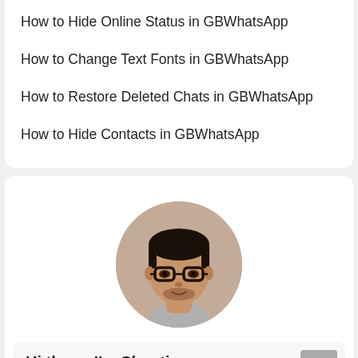How to Hide Online Status in GBWhatsApp
How to Change Text Fonts in GBWhatsApp
How to Restore Deleted Chats in GBWhatsApp
How to Hide Contacts in GBWhatsApp
[Figure (photo): Circular profile photo of a man with short dark hair and glasses, wearing a light grey shirt, smiling slightly against a beige background.]
Hi there, I'm Shanti.
Just a cool geek. I am also obsessed in